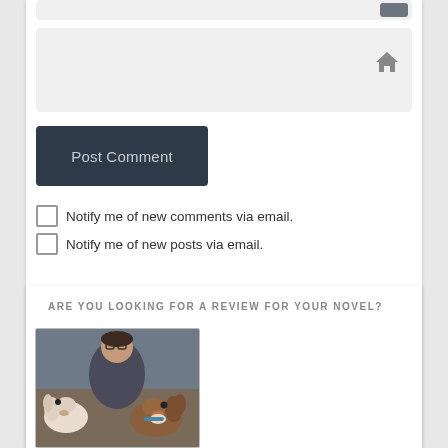[Figure (screenshot): Input field with gray background at top]
[Figure (screenshot): Larger input field with home icon at top right]
Post Comment
Notify me of new comments via email.
Notify me of new posts via email.
ARE YOU LOOKING FOR A REVIEW FOR YOUR NOVEL?
[Figure (photo): Person with two Cavalier King Charles Spaniel dogs on a couch]